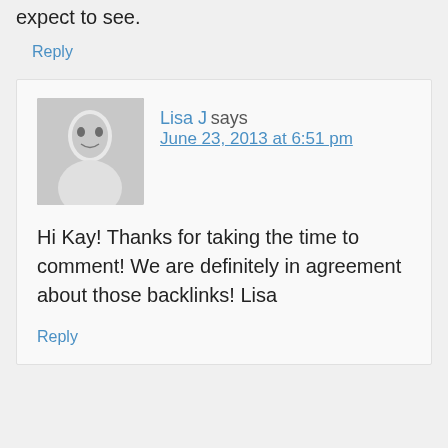expect to see.
Reply
Lisa J says
June 23, 2013 at 6:51 pm
Hi Kay! Thanks for taking the time to comment! We are definitely in agreement about those backlinks! Lisa
Reply